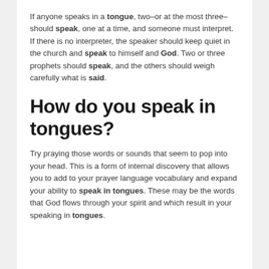If anyone speaks in a tongue, two–or at the most three–should speak, one at a time, and someone must interpret. If there is no interpreter, the speaker should keep quiet in the church and speak to himself and God. Two or three prophets should speak, and the others should weigh carefully what is said.
How do you speak in tongues?
Try praying those words or sounds that seem to pop into your head. This is a form of internal discovery that allows you to add to your prayer language vocabulary and expand your ability to speak in tongues. These may be the words that God flows through your spirit and which result in your speaking in tongues.